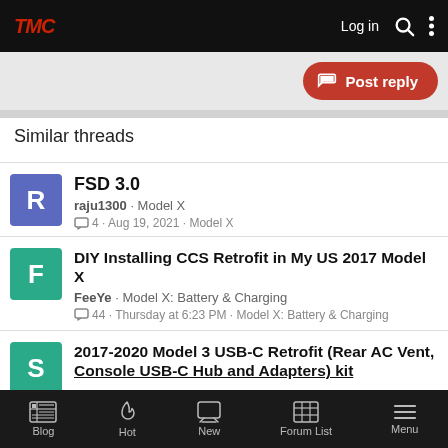TMC | Log in
Post reply
Similar threads
FSD 3.0 | raju1300 · Model X | 4 · Aug 19, 2021 · Model X
DIY Installing CCS Retrofit in My US 2017 Model X | FeeYe · Model X: Battery & Charging | 44 · Thursday at 6:23 PM · Model X: Battery & Charging
2017-2020 Model 3 USB-C Retrofit (Rear AC Vent, Console USB-C Hub and Adapters) kit
Blog | Hot | New | Forum List | Menu